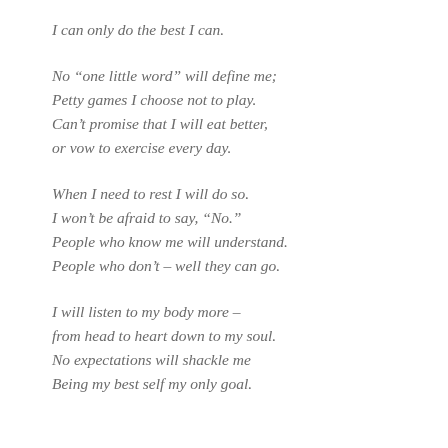I can only do the best I can.
No “one little word” will define me;
Petty games I choose not to play.
Can’t promise that I will eat better,
or vow to exercise every day.
When I need to rest I will do so.
I won’t be afraid to say, “No.”
People who know me will understand.
People who don’t – well they can go.
I will listen to my body more –
from head to heart down to my soul.
No expectations will shackle me
Being my best self my only goal.